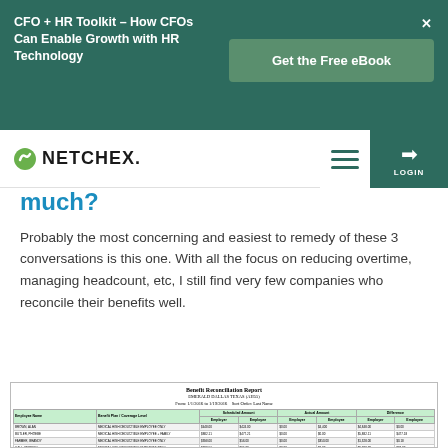CFO + HR Toolkit - How CFOs Can Enable Growth with HR Technology | Get the Free eBook
[Figure (logo): Netchex logo with green spiral icon and bold text NETCHEX. with hamburger menu and login button]
much?
Probably the most concerning and easiest to remedy of these 3 conversations is this one. With all the focus on reducing overtime, managing headcount, etc, I still find very few companies who reconcile their benefits well.
[Figure (screenshot): Benefit Reconciliation Report screenshot showing a table with employee names, benefit plan/coverage level, scheduled amounts, actual amounts, and differences for employer and employee columns. Rows include BROWN ALAN, BUTLER PHOEBE, FARMER BRANDY, HALL ANDREW, HULL AMELIA with MEDICAL HIGH DEDUCTIBLE plan entries.]